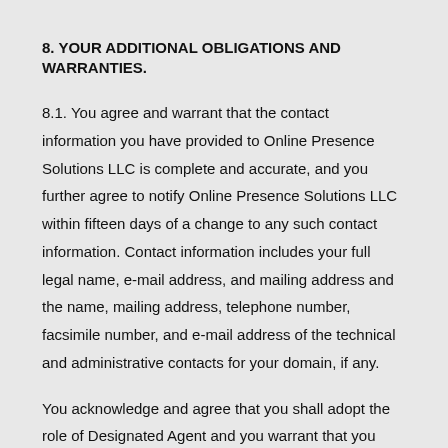8. YOUR ADDITIONAL OBLIGATIONS AND WARRANTIES.
8.1. You agree and warrant that the contact information you have provided to Online Presence Solutions LLC is complete and accurate, and you further agree to notify Online Presence Solutions LLC within fifteen days of a change to any such contact information. Contact information includes your full legal name, e-mail address, and mailing address and the name, mailing address, telephone number, facsimile number, and e-mail address of the technical and administrative contacts for your domain, if any.
You acknowledge and agree that you shall adopt the role of Designated Agent and you warrant that you either are